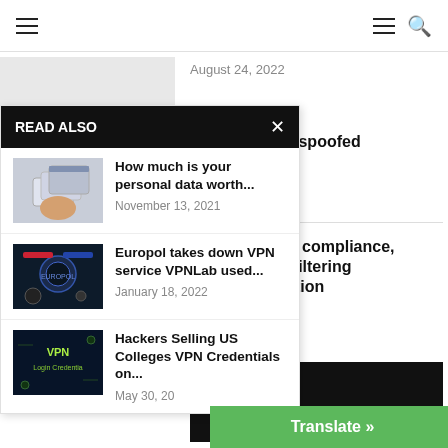Navigation bar with hamburger menu and search icon
August 24, 2022
ains the most-spoofed ishing scams
2021
dds new SaaS compliance, vention, URL filtering o Prisma solution
22
READ ALSO
How much is your personal data worth... November 13, 2021
Europol takes down VPN service VPNLab used... January 18, 2022
Hackers Selling US Colleges VPN Credentials on... May 30, 20
Translate »